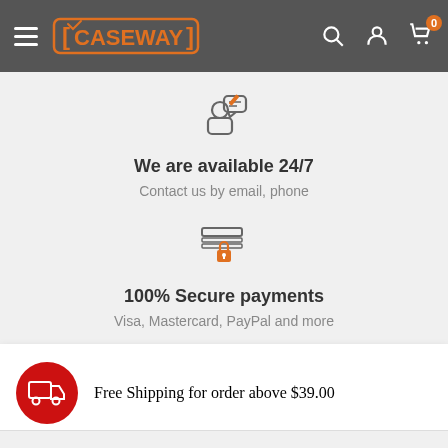[Figure (screenshot): Caseway e-commerce website header with hamburger menu, orange logo, search, account, and cart icons on dark grey background]
[Figure (illustration): Customer support icon: person silhouette with chat bubble, grey outline]
We are available 24/7
Contact us by email, phone
[Figure (illustration): Secure payment icon: stacked cards with orange padlock]
100% Secure payments
Visa, Mastercard, PayPal and more
Free Shipping for order above $39.00
FEATURED BRANDS